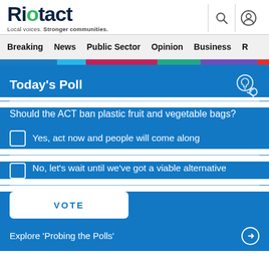Riotact — Local voices. Stronger communities.
Breaking  News  Public Sector  Opinion  Business  R
Today's Poll
Should the ACT ban plastic fruit and vegetable bags?
Yes, act now and people will come along
No, let's wait until we've got a viable alternative
VOTE
Explore 'Probing the Polls'